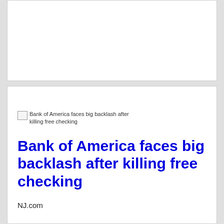[Figure (other): Empty white card area at the top of the page]
[Figure (other): Broken image placeholder with alt text: Bank of America faces big backlash after killing free checking]
Bank of America faces big backlash after killing free checking
NJ.com